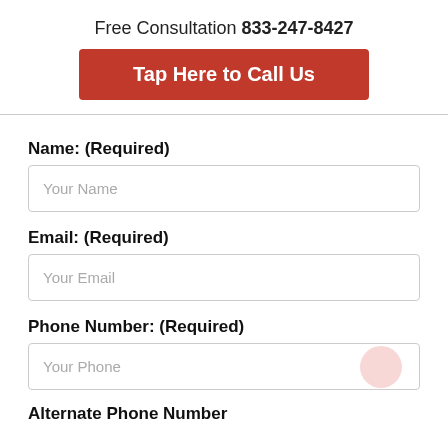Free Consultation 833-247-8427
Tap Here to Call Us
Name: (Required)
Your Name
Email: (Required)
Your Email
Phone Number: (Required)
Your Phone
Alternate Phone Number